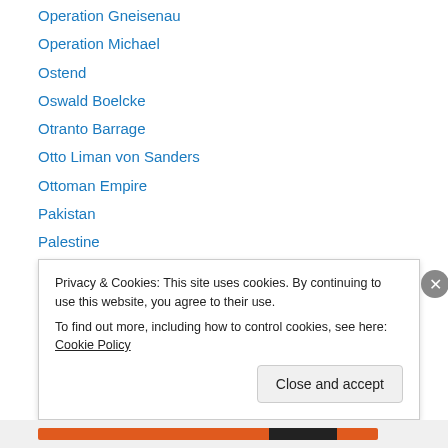Operation Gneisenau
Operation Michael
Ostend
Oswald Boelcke
Otranto Barrage
Otto Liman von Sanders
Ottoman Empire
Pakistan
Palestine
Palmyra
pandering
Papacy
Paris
Privacy & Cookies: This site uses cookies. By continuing to use this website, you agree to their use. To find out more, including how to control cookies, see here: Cookie Policy
Close and accept